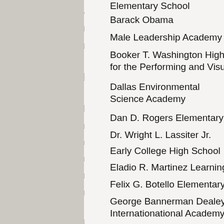Elementary School
Barack Obama
Male Leadership Academy
Booker T. Washington High School for the Performing and Visual Arts
Dallas Environmental Science Academy
Dan D. Rogers Elementary School
Dr. Wright L. Lassiter Jr.
Early College High School
Eladio R. Martinez Learning Center
Felix G. Botello Elementary School
George Bannerman Dealey Internationational Academy
George Bannerman Dealey Montessori Vanguard
Harry Stone Montessori Academy
Henry W. Longfellow Career Exploratory Academy
Irma Lerma Rangel
Young Women's Leadership